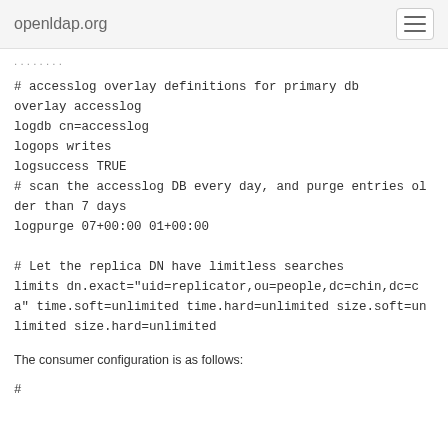openldap.org
# accesslog overlay definitions for primary db
overlay accesslog
logdb cn=accesslog
logops writes
logsuccess TRUE
# scan the accesslog DB every day, and purge entries older than 7 days
logpurge 07+00:00 01+00:00
# Let the replica DN have limitless searches
limits dn.exact="uid=replicator,ou=people,dc=chin,dc=ca" time.soft=unlimited time.hard=unlimited size.soft=unlimited size.hard=unlimited
The consumer configuration is as follows:
#